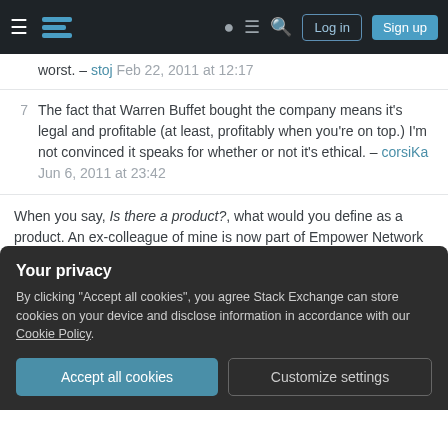Stack Exchange navigation bar with Log in and Sign up buttons
worst. – stoj Feb 22, 2011 at 12:17
7 The fact that Warren Buffet bought the company means it's legal and profitable (at least, profitably when you're on top.) I'm not convinced it speaks for whether or not it's ethical. – corsika Jun 6, 2011 at 23:42
When you say, Is there a product?, what would you define as a product. An ex-colleague of mine is now part of Empower Network (empowernetwork.com) and he did invite me once, but I haven't joined it. Can you please let me know how I can identify if it has a product. Should it be a physical commodity? – Kanini
Your privacy
By clicking "Accept all cookies", you agree Stack Exchange can store cookies on your device and disclose information in accordance with our Cookie Policy.
Accept all cookies  Customize settings